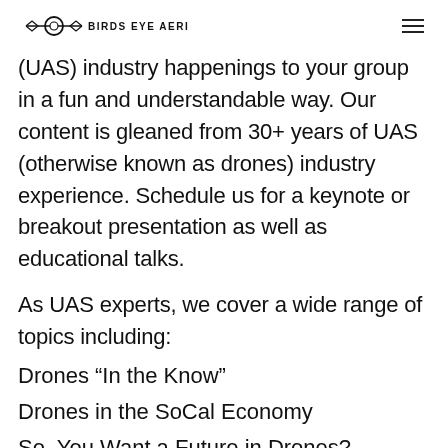BIRDS EYE AERIAL DRONES
(UAS) industry happenings to your group in a fun and understandable way. Our content is gleaned from 30+ years of UAS (otherwise known as drones) industry experience. Schedule us for a keynote or breakout presentation as well as educational talks.
As UAS experts, we cover a wide range of topics including:
Drones “In the Know”
Drones in the SoCal Economy
So, You Want a Future in Drones?